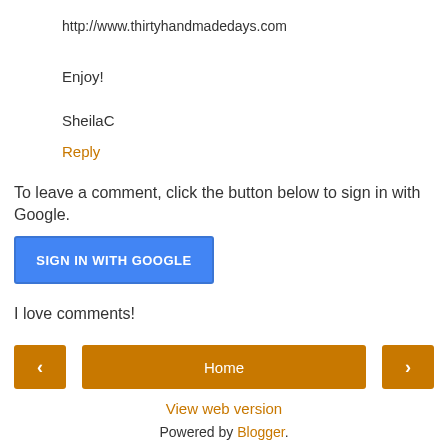http://www.thirtyhandmadedays.com
Enjoy!
SheilaC
Reply
To leave a comment, click the button below to sign in with Google.
SIGN IN WITH GOOGLE
I love comments!
< Home >
View web version
Powered by Blogger.